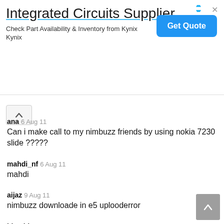[Figure (screenshot): Advertisement banner for 'Integrated Circuits Supplier' from Kynix with a blue 'Get Quote' button]
ana 6 Aug 11
Can i make call to my nimbuzz friends by using nokia 7230 slide ?????
mahdi_nf 6 Aug 11
mahdi
aijaz 9 Aug 11
nimbuzz downloade in e5 uplooderror
bhavith 11 Aug 11
hai